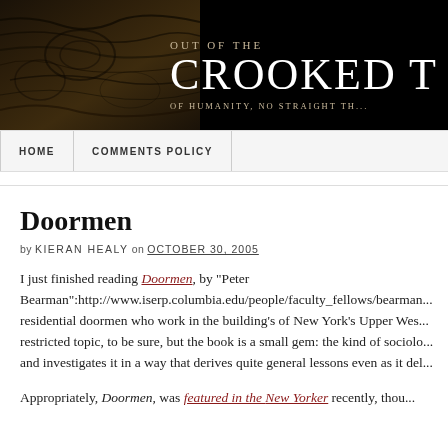[Figure (screenshot): Blog header banner with dark textured wood background on left and white serif text 'Out of the CROOKED T... of humanity, no straight th...' on black background]
HOME   COMMENTS POLICY
Doormen
by KIERAN HEALY on OCTOBER 30, 2005
I just finished reading Doormen, by "Peter Bearman":http://www.iserp.columbia.edu/people/faculty_fellows/bearman... residential doormen who work in the building's of New York's Upper Wes... restricted topic, to be sure, but the book is a small gem: the kind of sociolo... and investigates it in a way that derives quite general lessons even as it del...
Appropriately, Doormen, was featured in the New Yorker recently, thou...